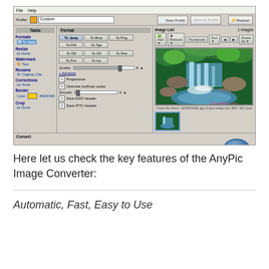[Figure (screenshot): AnyPic Image Converter application window showing format conversion options, image preview of a waterfall scene, and convert settings bar at the bottom]
Here let us check the key features of the AnyPic Image Converter:
Automatic, Fast, Easy to Use